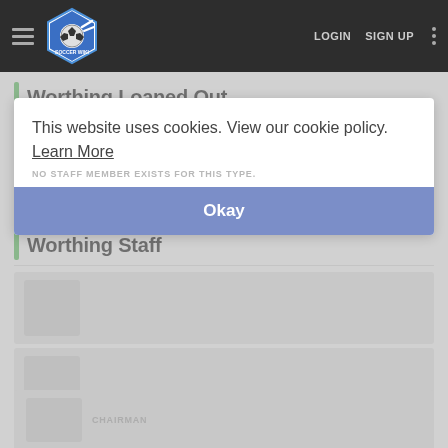[Figure (screenshot): Soccer Wiki website navigation bar with hamburger menu, Soccer Wiki hexagonal logo, LOGIN and SIGN UP links, and vertical dots menu on dark background]
Worthing Loaned Out
None
Worthing Staff
This website uses cookies. View our cookie policy. Learn More
NO STAFF MEMBER EXISTS FOR THIS TYPE.
Okay
CHAIRMAN